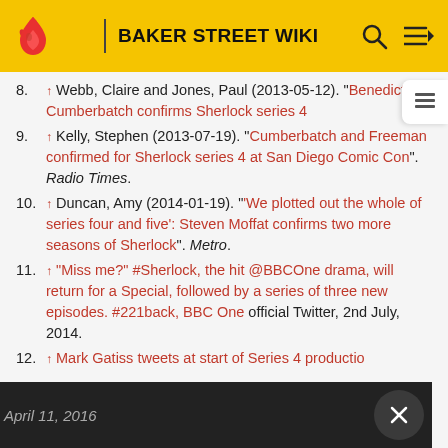BAKER STREET WIKI
8. ↑ Webb, Claire and Jones, Paul (2013-05-12). "Benedict Cumberbatch confirms Sherlock series 4
9. ↑ Kelly, Stephen (2013-07-19). "Cumberbatch and Freeman confirmed for Sherlock series 4 at San Diego Comic Con". Radio Times.
10. ↑ Duncan, Amy (2014-01-19). "'We plotted out the whole of series four and five': Steven Moffat confirms two more seasons of Sherlock". Metro.
11. ↑ "Miss me?" #Sherlock, the hit @BBCOne drama, will return for a Special, followed by a series of three new episodes. #221back, BBC One official Twitter, 2nd July, 2014.
12. ↑ Mark Gatiss tweets at start of Series 4 production. April 11, 2016